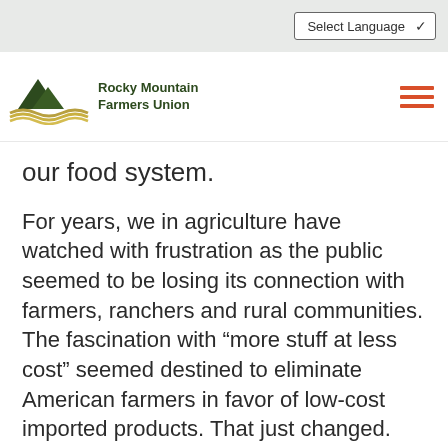Select Language
[Figure (logo): Rocky Mountain Farmers Union logo with mountain and wave graphic and text]
our food system.
For years, we in agriculture have watched with frustration as the public seemed to be losing its connection with farmers, ranchers and rural communities. The fascination with “more stuff at less cost” seemed destined to eliminate American farmers in favor of low-cost imported products. That just changed.